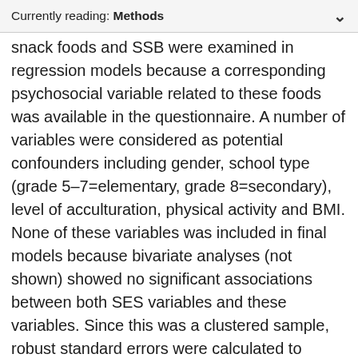Currently reading: Methods
snack foods and SSB were examined in regression models because a corresponding psychosocial variable related to these foods was available in the questionnaire. A number of variables were considered as potential confounders including gender, school type (grade 5–7=elementary, grade 8=secondary), level of acculturation, physical activity and BMI. None of these variables was included in final models because bivariate analyses (not shown) showed no significant associations between both SES variables and these variables. Since this was a clustered sample, robust standard errors were calculated to account for the potential clustering of individuals in schools.
Univariate logistic regression models first evaluated whether parent education and/or food insecurity independently predicted each of the five dietary